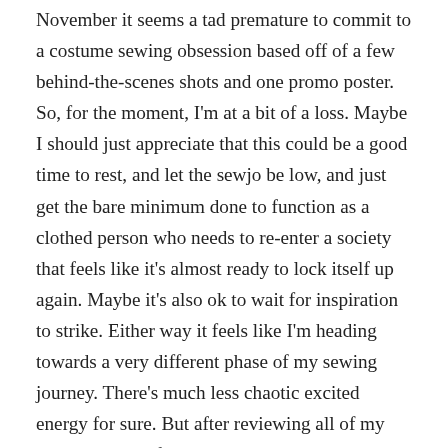November it seems a tad premature to commit to a costume sewing obsession based off of a few behind-the-scenes shots and one promo poster. So, for the moment, I'm at a bit of a loss. Maybe I should just appreciate that this could be a good time to rest, and let the sewjo be low, and just get the bare minimum done to function as a clothed person who needs to re-enter a society that feels like it's almost ready to lock itself up again. Maybe it's also ok to wait for inspiration to strike. Either way it feels like I'm heading towards a very different phase of my sewing journey. There's much less chaotic excited energy for sure. But after reviewing all of my sewn garments from the past decade, I'm realizing that so much of what I've done thus far really is a result of chaotic excited energy. I just haven't really figured out if I need to try and find a way to being that chaotic excitement back, or if I should try to figure out where I can go without the driving force of the chaos fueling my sewing adventures. As of now, it's definitely something that remains to